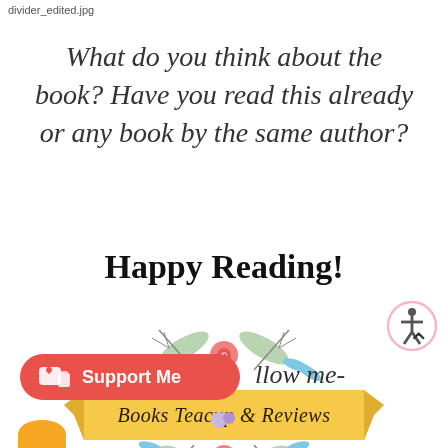divider_edited.jpg
What do you think about the book? Have you read this already or any book by the same author?
Happy Reading!
[Figure (logo): Books Teacup & Reviews logo with floral decoration and yellow ribbon banner]
[Figure (illustration): Accessibility icon - person in circle with pink border]
^
[Figure (illustration): Support Me button with Ko-fi cup and heart icon, red/coral rounded rectangle]
llow me-
[Figure (illustration): Orange partial circle at bottom left]